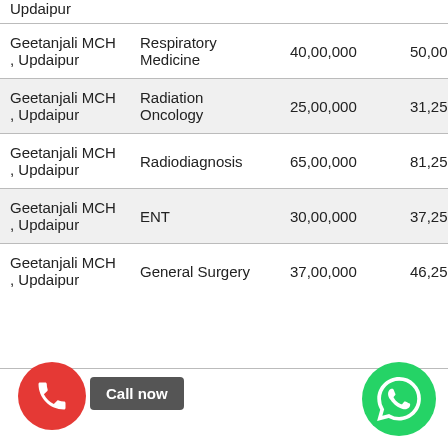| Hospital | Specialty | Amount 1 | Amount 2 |
| --- | --- | --- | --- |
| Updaipur |  |  |  |
| Geetanjali MCH , Updaipur | Respiratory Medicine | 40,00,000 | 50,00,000 |
| Geetanjali MCH , Updaipur | Radiation Oncology | 25,00,000 | 31,25,000 |
| Geetanjali MCH , Updaipur | Radiodiagnosis | 65,00,000 | 81,25,000 |
| Geetanjali MCH , Updaipur | ENT | 30,00,000 | 37,25,000 |
| Geetanjali MCH , Updaipur | General Surgery | 37,00,000 | 46,25,... |